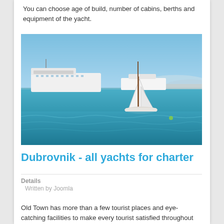You can choose age of build, number of cabins, berths and equipment of the yacht.
[Figure (photo): Boats and yachts moored in a Mediterranean harbour with blue sea water and clear blue sky.]
Dubrovnik - all yachts for charter
Details
Written by Joomla
Old Town has more than a few tourist places and eye-catching facilities to make every tourist satisfied throughout their stay in this town. My friends and I celebrated a party in the world-